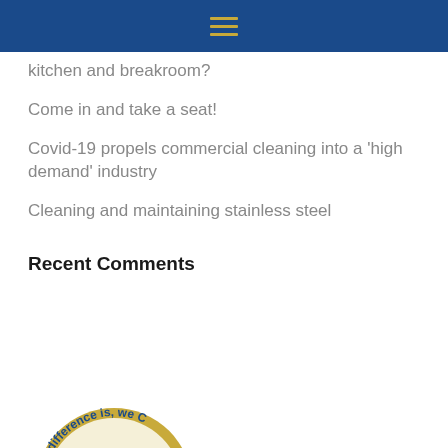kitchen and breakroom?
Come in and take a seat!
Covid-19 propels commercial cleaning into a 'high demand' industry
Cleaning and maintaining stainless steel
Recent Comments
[Figure (logo): Circular logo with text 'The difference is, we C...' in blue arc at top, gold/yellow background, red mountain or flame shapes inside]